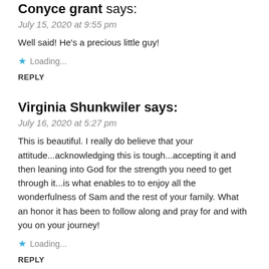Conyce grant says:
July 15, 2020 at 9:55 pm
Well said! He's a precious little guy!
Loading...
REPLY
Virginia Shunkwiler says:
July 16, 2020 at 5:27 pm
This is beautiful. I really do believe that your attitude...acknowledging this is tough...accepting it and then leaning into God for the strength you need to get through it...is what enables to to enjoy all the wonderfulness of Sam and the rest of your family. What an honor it has been to follow along and pray for and with you on your journey!
Loading...
REPLY